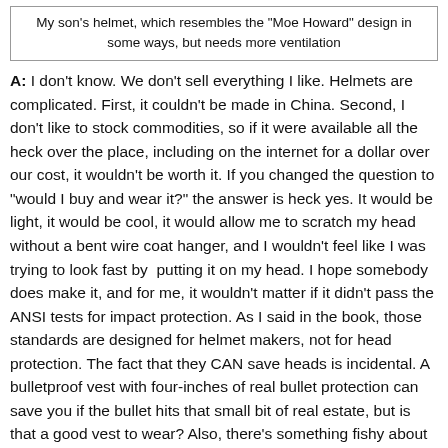My son's helmet, which resembles the "Moe Howard" design in some ways, but needs more ventilation
A:  I don't know. We don't sell everything I like. Helmets are complicated. First, it couldn't be made in China. Second, I don't like to stock commodities, so if it were available all the heck over the place, including on the internet for a dollar over our cost, it wouldn't be worth it. If you changed the question to "would I buy and wear it?" the answer is heck yes. It would be light, it would be cool, it would allow me to scratch my head without a bent wire coat hanger, and I wouldn't feel like I was trying to look fast by  putting it on my head. I hope somebody does make it, and for me, it wouldn't matter if it didn't pass the ANSI tests for impact protection. As I said in the book, those standards are designed for helmet makers, not for head protection. The fact that they CAN save heads is incidental. A bulletproof vest with four-inches of real bullet protection can save you if the bullet hits that small bit of real estate, but is that a good vest to wear? Also, there's something fishy about selling helmets that pass tests and don't protect heads under realistic, common crash conditions. A Moe-helmet that was presented as less protective might make you ride more carefully, and by means